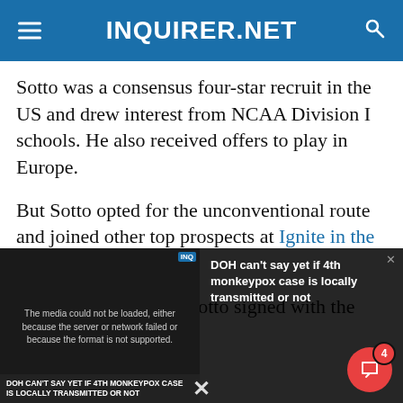INQUIRER.NET
Sotto was a consensus four-star recruit in the US and drew interest from NCAA Division I schools. He also received offers to play in Europe.
But Sotto opted for the unconventional route and joined other top prospects at Ignite in the G League.
When it fell through, Sotto signed with the
[Figure (screenshot): Video player overlay showing error message 'The media could not be loaded, either because the server or network failed or because the format is not supported.' with a news thumbnail below showing text 'DOH CAN'T SAY YET IF 4TH MONKEYPOX CASE IS LOCALLY TRANSMITTED OR NOT'. On the right side shows headline 'DOH can't say yet if 4th monkeypox case is locally transmitted or not'. A red circular chat button with badge showing '4' and an X close button are visible.]